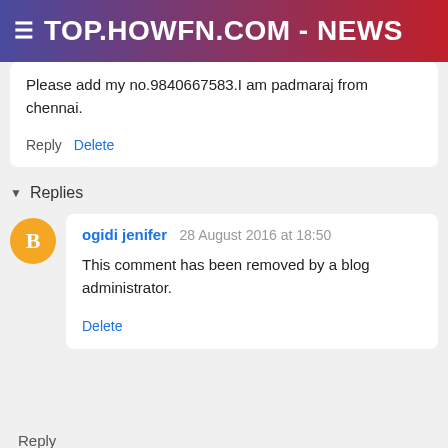TOP.HOWFN.COM - NEWS
Please add my no.9840667583.I am padmaraj from chennai.
Reply  Delete
▾ Replies
ogidi jenifer  28 August 2016 at 18:50
This comment has been removed by a blog administrator.
Delete
Reply
Anonymous  25 August 2016 at 16:42
+918686611693 Join me